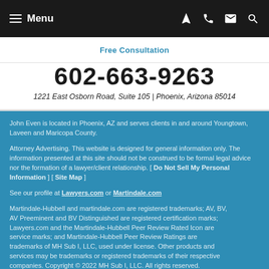Menu
Free Consultation
602-663-9263
1221 East Osborn Road, Suite 105 | Phoenix, Arizona 85014
John Even is located in Phoenix, AZ and serves clients in and around Youngtown, Laveen and Maricopa County.
Attorney Advertising. This website is designed for general information only. The information presented at this site should not be construed to be formal legal advice nor the formation of a lawyer/client relationship. [ Do Not Sell My Personal Information ] [ Site Map ]
See our profile at Lawyers.com or Martindale.com
Martindale-Hubbell and martindale.com are registered trademarks; AV, BV, AV Preeminent and BV Distinguished are registered certification marks; Lawyers.com and the Martindale-Hubbell Peer Review Rated Icon are service marks; and Martindale-Hubbell Peer Review Ratings are trademarks of MH Sub I, LLC, used under license. Other products and services may be trademarks or registered trademarks of their respective companies. Copyright © 2022 MH Sub I, LLC. All rights reserved.
[Figure (logo): Martindale-Hubbell logo with hexagon icon]